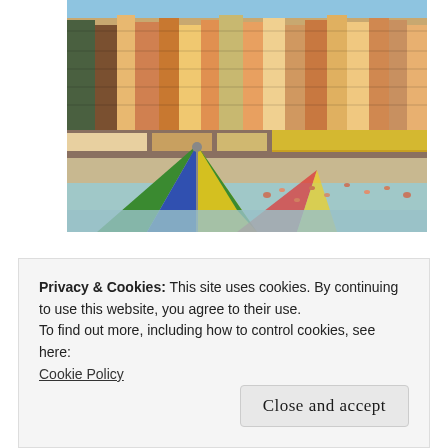[Figure (photo): Photo of a colorful Italian coastal town (Camogli or similar Ligurian village) with densely packed multi-colored buildings rising up a hillside, viewed from the beach. In the foreground is a busy beach scene with a large multi-colored beach umbrella (green, blue, yellow) prominently in the lower left, and beachgoers and the sea visible.]
Below are my top, and might I say
Privacy & Cookies: This site uses cookies. By continuing to use this website, you agree to their use.
To find out more, including how to control cookies, see here:
Cookie Policy
Close and accept